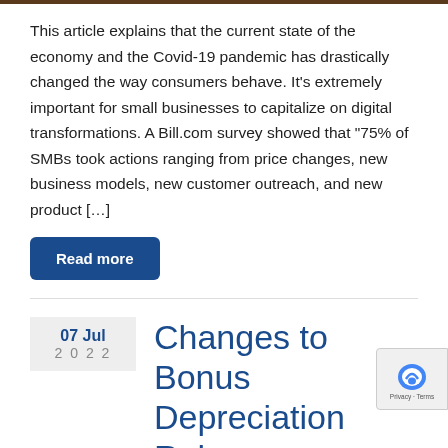This article explains that the current state of the economy and the Covid-19 pandemic has drastically changed the way consumers behave. It's extremely important for small businesses to capitalize on digital transformations. A Bill.com survey showed that “75% of SMBs took actions ranging from price changes, new business models, new customer outreach, and new product […]
Read more
Changes to Bonus Depreciation Rules
Written by Meg Beditz   Category: News